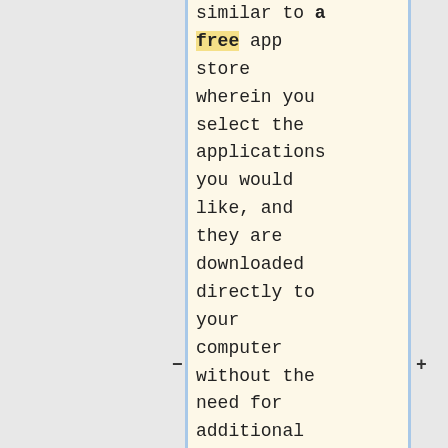similar to a free app store wherein you select the applications you would like, and they are downloaded directly to your computer without the need for additional passwords, permissions, or a technician on-site. Applications